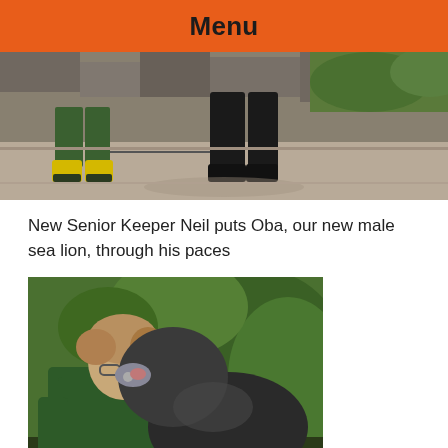Menu
[Figure (photo): A sea lion trainer in green uniform and yellow boots walking with a large sea lion on a leash, viewed from behind at knee level, on a concrete path with stone wall background]
New Senior Keeper Neil puts Oba, our new male sea lion, through his paces
[Figure (photo): A zookeeper in a green shirt with glasses kissing a large sea lion on the nose/face, with green foliage in the background]